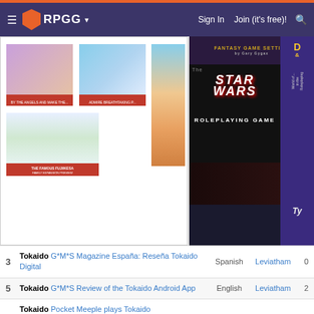RPGG — Sign In | Join (it's free)!
[Figure (screenshot): RPGG website screenshot showing game images gallery with Tokaido game art, anime character, and Star Wars Roleplaying Game advertisement]
Videos
Hot | Recent
[Browse »] [Add Video »] Category: All Language: All Pg. 1 2
| # | Game / Video | Language | User | Comments |
| --- | --- | --- | --- | --- |
| 3 | Tokaido G*M*S Magazine España: Reseña Tokaido Digital | Spanish | Leviatham | 0 |
| 5 | Tokaido G*M*S Review of the Tokaido Android App | English | Leviatham | 2 |
|  | Tokaido Pocket Meeple plays Tokaido |  |  |  |